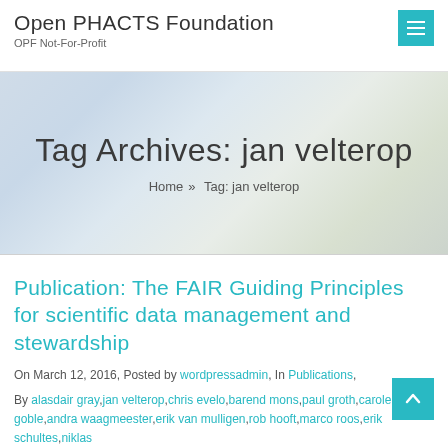Open PHACTS Foundation
OPF Not-For-Profit
Tag Archives: jan velterop
Home » Tag: jan velterop
Publication: The FAIR Guiding Principles for scientific data management and stewardship
On March 12, 2016, Posted by wordpressadmin, In Publications,
By alasdair gray,jan velterop,chris evelo,barend mons,paul groth,carole goble,andra waagmeester,erik van mulligen,rob hooft,marco roos,erik schultes,niklas